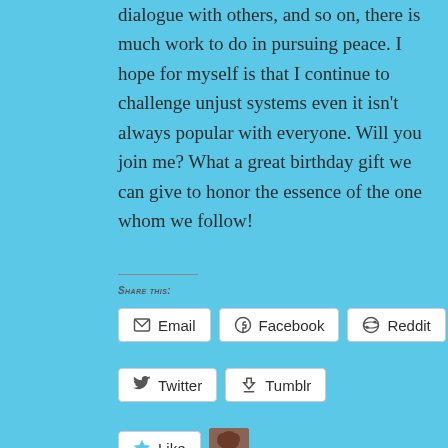dialogue with others, and so on, there is much work to do in pursuing peace. I hope for myself is that I continue to challenge unjust systems even it isn't always popular with everyone. Will you join me? What a great birthday gift we can give to honor the essence of the one whom we follow!
Share this:
[Figure (screenshot): Social sharing buttons: Email, Facebook, Reddit, Twitter, Tumblr, Like button with blogger avatar, and 'One blogger likes this.' text]